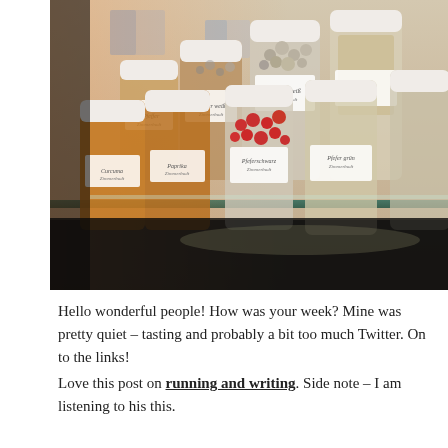[Figure (photo): Photograph of multiple glass spice jars with white lids and handwritten labels, arranged on a shelf in rows. The jars contain various spices including peppercorns and other whole spices. A building with windows is visible in the blurred background.]
Hello wonderful people! How was your week? Mine was pretty quiet – tasting and probably a bit too much Twitter. On to the links!
Love this post on running and writing. Side note – I am listening to his this.